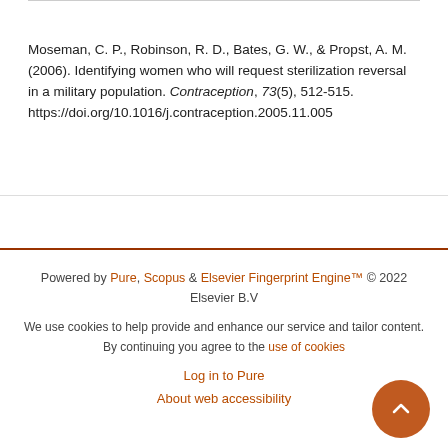Moseman, C. P., Robinson, R. D., Bates, G. W., & Propst, A. M. (2006). Identifying women who will request sterilization reversal in a military population. Contraception, 73(5), 512-515. https://doi.org/10.1016/j.contraception.2005.11.005
Powered by Pure, Scopus & Elsevier Fingerprint Engine™ © 2022 Elsevier B.V
We use cookies to help provide and enhance our service and tailor content. By continuing you agree to the use of cookies
Log in to Pure
About web accessibility